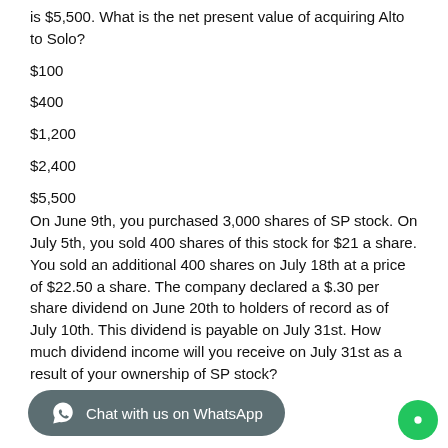is $5,500. What is the net present value of acquiring Alto to Solo?
$100
$400
$1,200
$2,400
$5,500
On June 9th, you purchased 3,000 shares of SP stock. On July 5th, you sold 400 shares of this stock for $21 a share. You sold an additional 400 shares on July 18th at a price of $22.50 a share. The company declared a $.30 per share dividend on June 20th to holders of record as of July 10th. This dividend is payable on July 31st. How much dividend income will you receive on July 31st as a result of your ownership of SP stock?